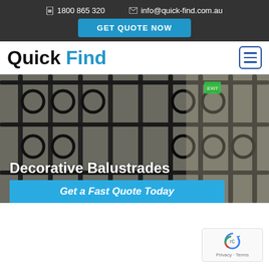1800 865 320   info@quick-find.com.au
GET QUOTE NOW
Quick Find
[Figure (photo): Photo of decorative black iron balustrading on a staircase with scrollwork patterns. Overlaid text reads 'Decorative Balustrades' and a blue banner says 'Get a Fast Quote Today'.]
[Figure (other): reCAPTCHA badge showing Privacy and Terms links]